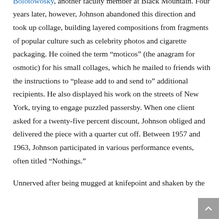abstractions that reflect the teachings of Albers and Ilya Bolotowosky, another faculty member at Black Mountain. Four years later, however, Johnson abandoned this direction and took up collage, building layered compositions from fragments of popular culture such as celebrity photos and cigarette packaging. He coined the term “moticos” (the anagram for osmotic) for his small collages, which he mailed to friends with the instructions to “please add to and send to” additional recipients. He also displayed his work on the streets of New York, trying to engage puzzled passersby. When one client asked for a twenty-five percent discount, Johnson obliged and delivered the piece with a quarter cut off. Between 1957 and 1963, Johnson participated in various performance events, often titled “Nothings.”
Unnerved after being mugged at knifepoint and shaken by the